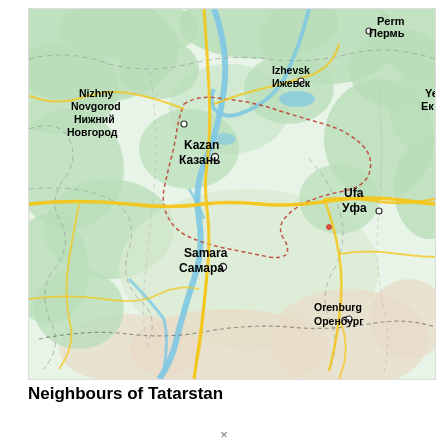[Figure (map): Map showing Tatarstan and neighbouring regions of Russia, including cities: Perm/Пермь (top right), Nizhny Novgorod/Нижний Новгород (left), Izhevsk/Ижевск (top center-right), Kazan/Казань (center-left), Ufa/Уфа (right), Samara/Самара (center), Orenburg/Оренбург (bottom right). Map shows green forested areas, roads (yellow), rivers (blue), and dashed administrative borders on a light background.]
Neighbours of Tatarstan